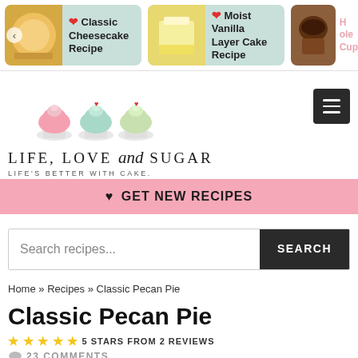[Figure (screenshot): Top navigation cards showing Classic Cheesecake Recipe and Moist Vanilla Layer Cake Recipe with teal background cards]
[Figure (logo): Life, Love and Sugar logo with three cupcake illustrations and tagline LIFE'S BETTER WITH CAKE.]
❤ GET NEW RECIPES
Search recipes...
Home » Recipes » Classic Pecan Pie
Classic Pecan Pie
★★★★★ 5 STARS FROM 2 REVIEWS
23 COMMENTS